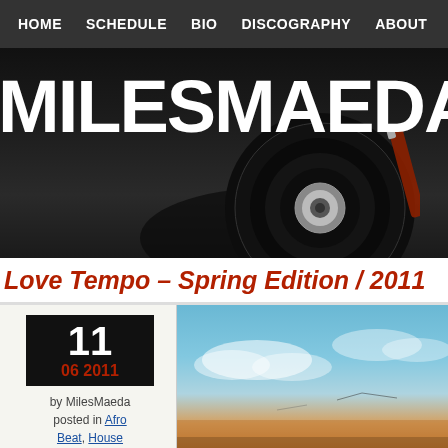HOME   SCHEDULE   BIO   DISCOGRAPHY   ABOUT
MILESMAEDAMIX
[Figure (photo): Dark background vinyl record / audio equipment hero banner image]
Love Tempo – Spring Edition / 2011
11
06 2011
by MilesMaeda
posted in Afro Beat, House
[Figure (photo): Sky with clouds at sunset / sunrise, warm orange and blue tones]